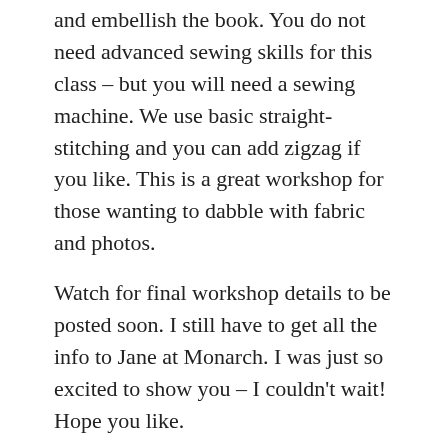and embellish the book. You do not need advanced sewing skills for this class – but you will need a sewing machine. We use basic straight-stitching and you can add zigzag if you like. This is a great workshop for those wanting to dabble with fabric and photos.
Watch for final workshop details to be posted soon. I still have to get all the info to Jane at Monarch. I was just so excited to show you – I couldn't wait! Hope you like.
sharing is caring
[Figure (other): Twitter and More sharing buttons, a Like button with star icon, a blogger avatar image, and 'One blogger likes this' text]